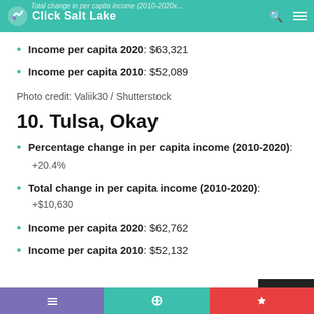Click Salt Lake — Total change in per capita income (2010-2020x...
Income per capita 2020: $63,321
Income per capita 2010: $52,089
Photo credit: Valiik30 / Shutterstock
10. Tulsa, Okay
Percentage change in per capita income (2010-2020): +20.4%
Total change in per capita income (2010-2020): +$10,630
Income per capita 2020: $62,762
Income per capita 2010: $52,132